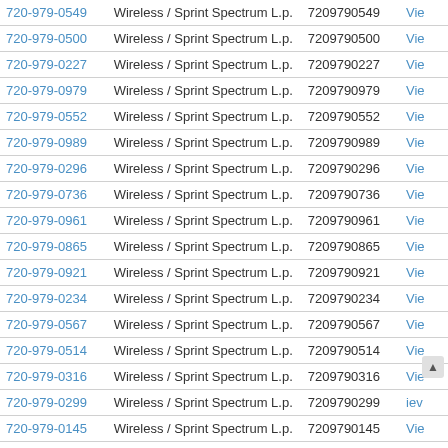| Phone | Type | Number | Action |
| --- | --- | --- | --- |
| 720-979-0549 | Wireless / Sprint Spectrum L.p. | 7209790549 | View |
| 720-979-0500 | Wireless / Sprint Spectrum L.p. | 7209790500 | View |
| 720-979-0227 | Wireless / Sprint Spectrum L.p. | 7209790227 | View |
| 720-979-0979 | Wireless / Sprint Spectrum L.p. | 7209790979 | View |
| 720-979-0552 | Wireless / Sprint Spectrum L.p. | 7209790552 | View |
| 720-979-0989 | Wireless / Sprint Spectrum L.p. | 7209790989 | View |
| 720-979-0296 | Wireless / Sprint Spectrum L.p. | 7209790296 | View |
| 720-979-0736 | Wireless / Sprint Spectrum L.p. | 7209790736 | View |
| 720-979-0961 | Wireless / Sprint Spectrum L.p. | 7209790961 | View |
| 720-979-0865 | Wireless / Sprint Spectrum L.p. | 7209790865 | View |
| 720-979-0921 | Wireless / Sprint Spectrum L.p. | 7209790921 | View |
| 720-979-0234 | Wireless / Sprint Spectrum L.p. | 7209790234 | View |
| 720-979-0567 | Wireless / Sprint Spectrum L.p. | 7209790567 | View |
| 720-979-0514 | Wireless / Sprint Spectrum L.p. | 7209790514 | View |
| 720-979-0316 | Wireless / Sprint Spectrum L.p. | 7209790316 | View |
| 720-979-0299 | Wireless / Sprint Spectrum L.p. | 7209790299 | View |
| 720-979-0145 | Wireless / Sprint Spectrum L.p. | 7209790145 | View |
| 720-979-0428 | Wireless / Sprint Spectrum L.p. | 7209790428 | View |
| 720-979-0... | Wireless / Sprint Spectrum L.p. | 720979... | View |